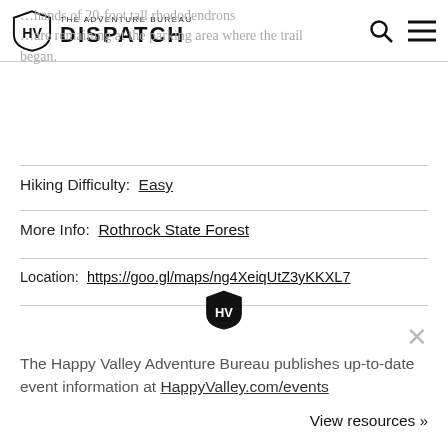THE ADVENTURE BUREAU DISPATCH
…hands of 20-foot tall rhododendrons…are remaining at the parking area where the trail began.
Hiking Difficulty: Easy
More Info: Rothrock State Forest
Location: https://goo.gl/maps/ng4XeiqUtZ3yKKXL7
[Figure (logo): HV shield logo centered as divider]
The Happy Valley Adventure Bureau publishes up-to-date event information at HappyValley.com/events
View resources »